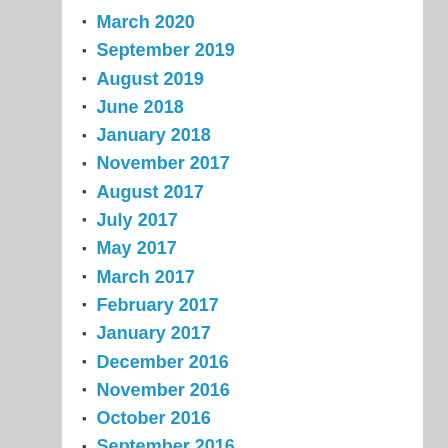March 2020
September 2019
August 2019
June 2018
January 2018
November 2017
August 2017
July 2017
May 2017
March 2017
February 2017
January 2017
December 2016
November 2016
October 2016
September 2016
August 2016
July 2016
June 2016
May 2016
April 2016